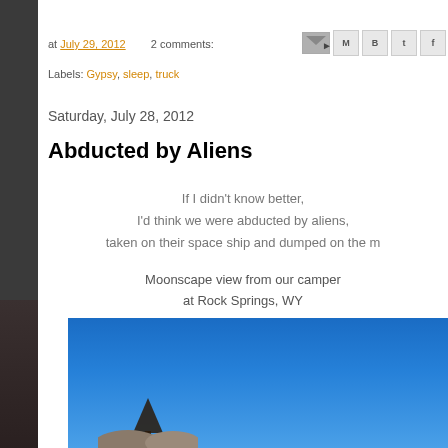at July 29, 2012   2 comments:
Labels: Gypsy, sleep, truck
Saturday, July 28, 2012
Abducted by Aliens
If I didn't know better,
I'd think we were abducted by aliens,
taken on their space ship and dumped on the m
Moonscape view from our camper
at Rock Springs, WY
[Figure (photo): Photo of rocky landscape with a single tree silhouetted against a bright blue sky, at Rock Springs, WY]